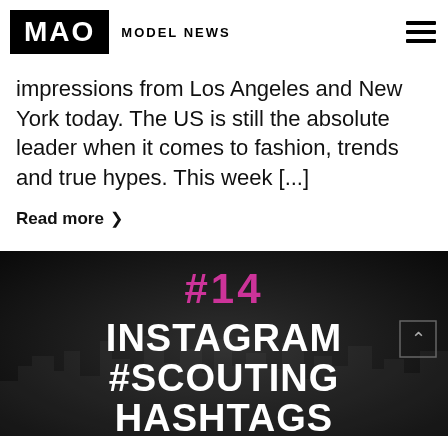MAO MODEL NEWS
impressions from Los Angeles and New York today. The US is still the absolute leader when it comes to fashion, trends and true hypes. This week [...]
Read more >
[Figure (infographic): Dark banner with city skyline silhouette. Text reads: #14 INSTAGRAM #SCOUTING HASHTAGS in white bold font with #14 in pink/magenta.]